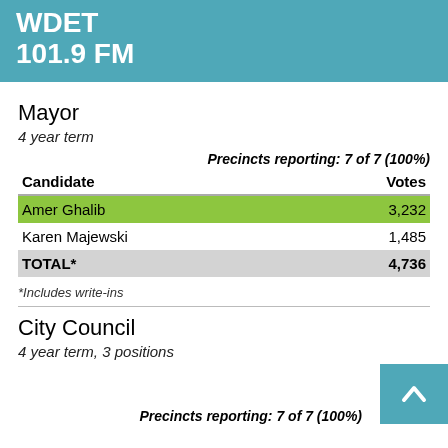WDET 101.9 FM
Mayor
4 year term
Precincts reporting: 7 of 7 (100%)
| Candidate | Votes |
| --- | --- |
| Amer Ghalib | 3,232 |
| Karen Majewski | 1,485 |
| TOTAL* | 4,736 |
*Includes write-ins
City Council
4 year term, 3 positions
Precincts reporting: 7 of 7 (100%)